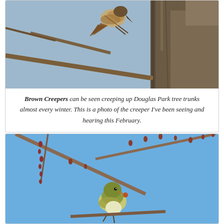[Figure (photo): Close-up photo of a Brown Creeper bird climbing up a tree trunk, shot from below with blue sky background and brown bark visible.]
Brown Creepers can be seen creeping up Douglas Park tree trunks almost every winter. This is a photo of the creeper I've been seeing and hearing this February.
[Figure (photo): Photo of a small bird (likely a goldfinch or similar species) perched on a thin branch with reddish buds, against a bright blue sky background.]